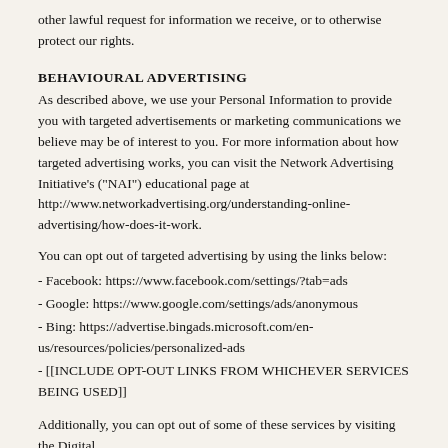other lawful request for information we receive, or to otherwise protect our rights.
BEHAVIOURAL ADVERTISING
As described above, we use your Personal Information to provide you with targeted advertisements or marketing communications we believe may be of interest to you. For more information about how targeted advertising works, you can visit the Network Advertising Initiative’s (“NAI”) educational page at http://www.networkadvertising.org/understanding-online-advertising/how-does-it-work.
You can opt out of targeted advertising by using the links below:
- Facebook: https://www.facebook.com/settings/?tab=ads
- Google: https://www.google.com/settings/ads/anonymous
- Bing: https://advertise.bingads.microsoft.com/en-us/resources/policies/personalized-ads
- [[INCLUDE OPT-OUT LINKS FROM WHICHEVER SERVICES BEING USED]]
Additionally, you can opt out of some of these services by visiting the Digital